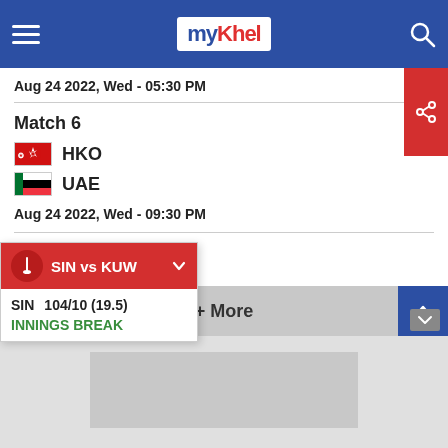myKhel navigation bar
Aug 24 2022, Wed - 05:30 PM
Match 6
HKO
UAE
Aug 24 2022, Wed - 09:30 PM
2nd Test
ENG
SAF
Aug 25 2022, Thu - 03:30 PM
SIN vs KUW
SIN  104/10 (19.5)
INNINGS BREAK
+ More